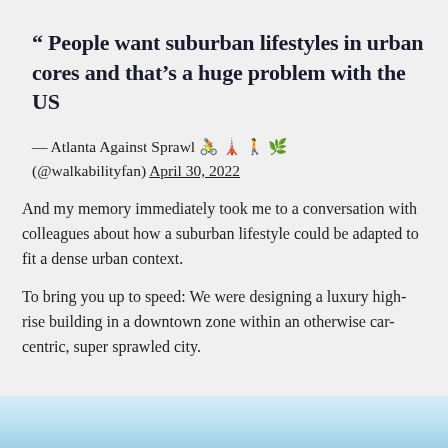“ People want suburban lifestyles in urban cores and that’s a huge problem with the US
— Atlanta Against Sprawl 🚴 🗼 🚶 🌳 (@walkabilityfan) April 30, 2022
And my memory immediately took me to a conversation with colleagues about how a suburban lifestyle could be adapted to fit a dense urban context.
To bring you up to speed: We were designing a luxury high-rise building in a downtown zone within an otherwise car-centric, super sprawled city.
[Figure (photo): Partial view of a cityscape photo, showing sky and possibly building tops, cropped at the bottom of the page.]